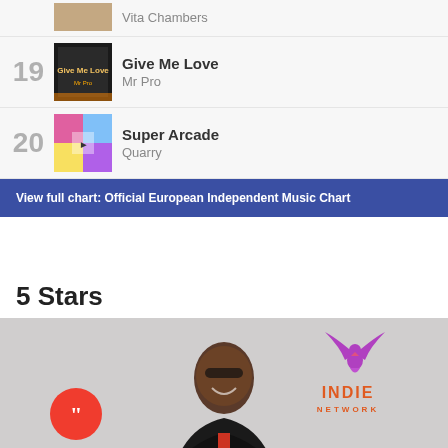Vita Chambers
19 - Give Me Love - Mr Pro
20 - Super Arcade - Quarry
View full chart: Official European Independent Music Chart
5 Stars
[Figure (photo): Photo of a smiling man with sunglasses wearing a black jacket and red shirt, with a red quote button icon overlay on the left and an Indie Network logo on the upper right]